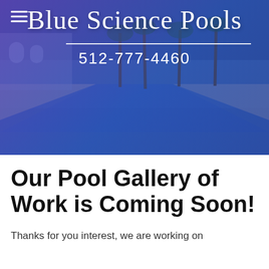[Figure (photo): Header banner with Blue Science Pools logo, phone number 512-777-4460, and a background photo of a luxury swimming pool with palm trees and a blue/purple color overlay gradient. Hamburger menu icon in top left corner.]
Our Pool Gallery of Work is Coming Soon!
Thanks for you interest, we are working on